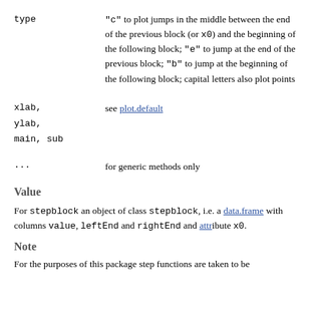type  "c" to plot jumps in the middle between the end of the previous block (or x0) and the beginning of the following block; "e" to jump at the end of the previous block; "b" to jump at the beginning of the following block; capital letters also plot points
xlab, ylab, main, sub  see plot.default
...  for generic methods only
Value
For stepblock an object of class stepblock, i.e. a data.frame with columns value, leftEnd and rightEnd and attribute x0.
Note
For the purposes of this package step functions are taken to be